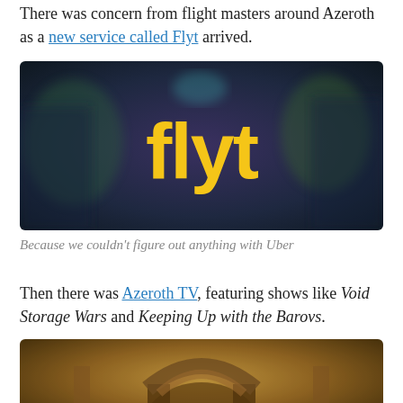There was concern from flight masters around Azeroth as a new service called Flyt arrived.
[Figure (photo): Dark fantasy-style screenshot with the word 'flyt' in large yellow stylized lettering on a blurred purple-green background with fantasy characters.]
Because we couldn't figure out anything with Uber
Then there was Azeroth TV, featuring shows like Void Storage Wars and Keeping Up with the Barovs.
[Figure (photo): Fantasy stone architecture scene, appears to be a dungeon or cathedral interior with warm golden-brown tones, partially cut off at the bottom of the page.]